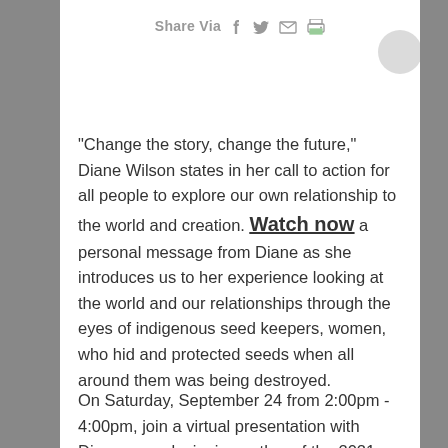Share Via
"Change the story, change the future," Diane Wilson states in her call to action for all people to explore our own relationship to the world and creation. Watch now a personal message from Diane as she introduces us to her experience looking at the world and our relationships through the eyes of indigenous seed keepers, women, who hid and protected seeds when all around them was being destroyed.
On Saturday, September 24 from 2:00pm - 4:00pm, join a virtual presentation with Diane, award-winning author of the 2021